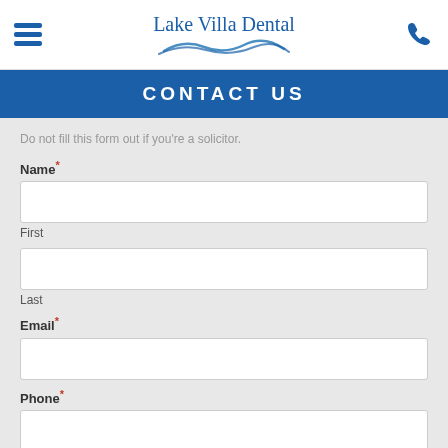Lake Villa Dental
CONTACT US
Do not fill this form out if you're a solicitor.
Name*
First
Last
Email*
Phone*